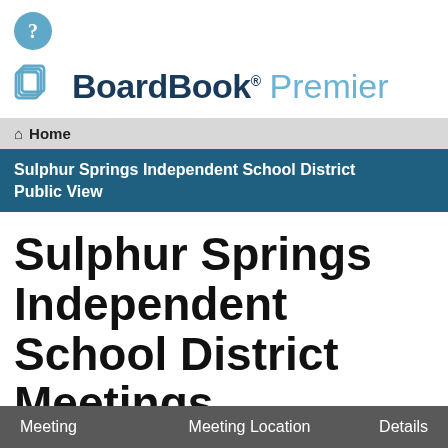[Figure (logo): Blue circular question mark help icon]
[Figure (logo): BoardBook Premier logo with icon and text]
Home
Sulphur Springs Independent School District Public View
Sulphur Springs Independent School District Meetings
| Meeting | Meeting Location | Details |
| --- | --- | --- |